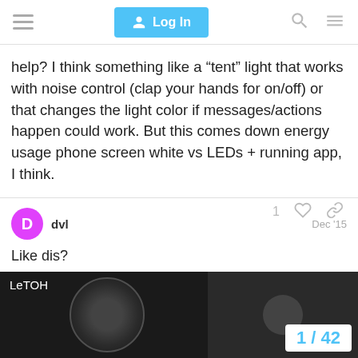Log In
help? I think something like a “tent” light that works with noise control (clap your hands for on/off) or that changes the light color if messages/actions happen could work. But this comes down energy usage phone screen white vs LEDs + running app, I think.
dvl Dec ’15
Like dis?
[Figure (screenshot): Video thumbnail showing LeTOH label with image of disco ball/device, and a white counter box showing 1 / 42 in blue text]